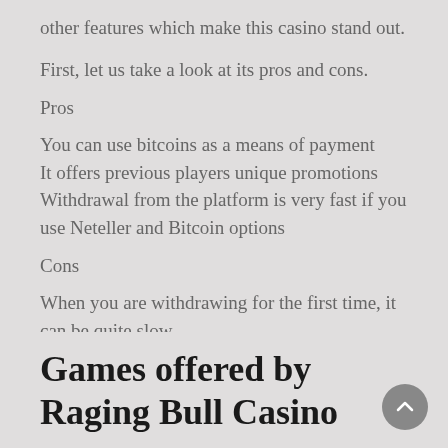other features which make this casino stand out.
First, let us take a look at its pros and cons.
Pros
You can use bitcoins as a means of payment
It offers previous players unique promotions
Withdrawal from the platform is very fast if you use Neteller and Bitcoin options
Cons
When you are withdrawing for the first time, it can be quite slow.
The monthly limit for withdrawals is quite low which lots of high-rollers may not find appealing.
It offers games from only Real Time Gaming.
Games offered by Raging Bull Casino